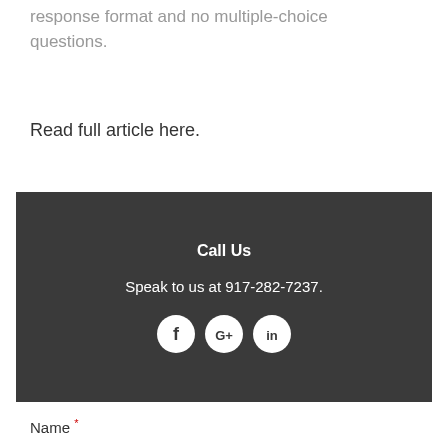response format and no multiple-choice questions.
Read full article here.
Call Us
Speak to us at 917-282-7237.
[Figure (other): Social media icons: Facebook, Google+, LinkedIn in white circles on dark background]
Name *